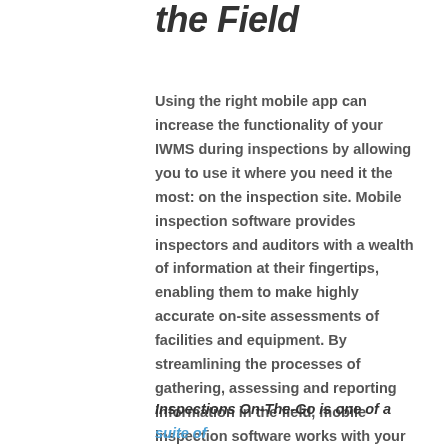the Field
Using the right mobile app can increase the functionality of your IWMS during inspections by allowing you to use it where you need it the most: on the inspection site. Mobile inspection software provides inspectors and auditors with a wealth of information at their fingertips, enabling them to make highly accurate on-site assessments of facilities and equipment. By streamlining the processes of gathering, assessing and reporting information in the field, mobile inspection software works with your IWMS to make inspections run smoothly.
Inspections On-The-Go is one of a suite of